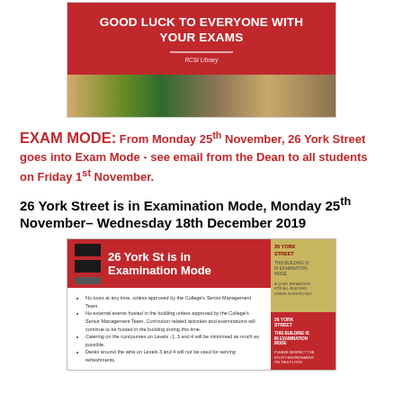[Figure (photo): Red banner image with white bold text 'GOOD LUCK TO EVERYONE WITH YOUR EXAMS', a white horizontal divider, 'RCSI Library' text below, and library bookshelf photo at the bottom]
EXAM MODE: From Monday 25th November, 26 York Street goes into Exam Mode - see email from the Dean to all students on Friday 1st November.
26 York Street is in Examination Mode, Monday 25th November– Wednesday 18th December 2019
[Figure (infographic): Notice infographic showing '26 York St is in Examination Mode' in red header with black logo boxes on left and a gold/red right panel with 26 York Street building text, and bullet points listing examination mode rules below]